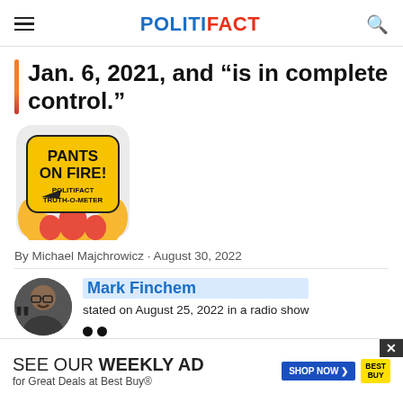POLITIFACT
Jan. 6, 2021, and “is in complete control.”
[Figure (illustration): Pants on Fire! PolitiFact Truth-O-Meter badge with flames illustration]
By Michael Majchrowicz · August 30, 2022
Mark Finchem stated on August 25, 2022 in a radio show
[Figure (photo): Headshot photo of Mark Finchem, a man with a mustache and glasses]
SEE OUR WEEKLY AD for Great Deals at Best Buy®